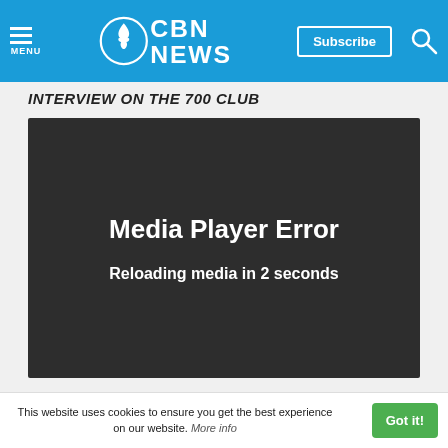CBN NEWS — Menu, Subscribe, Search navigation bar
INTERVIEW ON THE 700 CLUB
[Figure (screenshot): Media player showing error state with text 'Media Player Error' and 'Reloading media in 2 seconds']
Did you know?
This website uses cookies to ensure you get the best experience on our website. More info